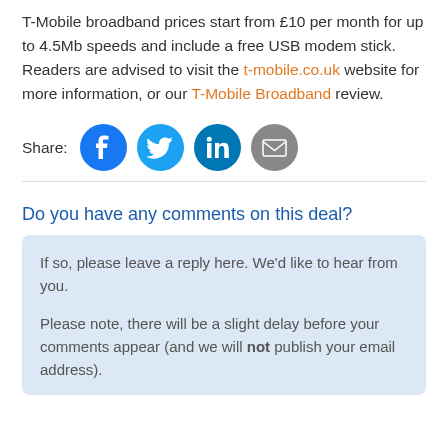T-Mobile broadband prices start from £10 per month for up to 4.5Mb speeds and include a free USB modem stick. Readers are advised to visit the t-mobile.co.uk website for more information, or our T-Mobile Broadband review.
Share: [Facebook] [Twitter] [LinkedIn] [Email]
Do you have any comments on this deal?
If so, please leave a reply here. We'd like to hear from you.

Please note, there will be a slight delay before your comments appear (and we will not publish your email address).